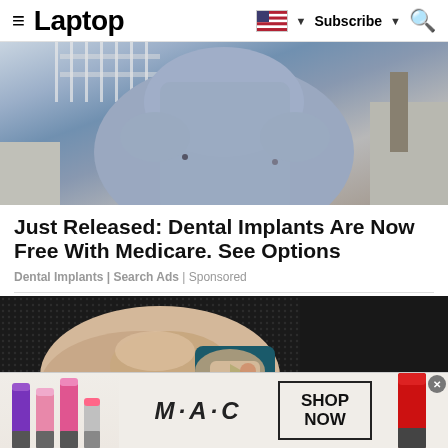Laptop — Subscribe
[Figure (photo): Photo of a person wearing a blue/grey short-sleeve fitted shirt, from neck to waist, outdoors on a sidewalk]
Just Released: Dental Implants Are Now Free With Medicare. See Options
Dental Implants | Search Ads | Sponsored
[Figure (photo): Close-up photo of a hand holding a smartphone with a colorful app icon visible, on a dark textured background]
[Figure (photo): M·A·C cosmetics advertisement banner with lipsticks in purple, pink, and red colors and a SHOP NOW button]